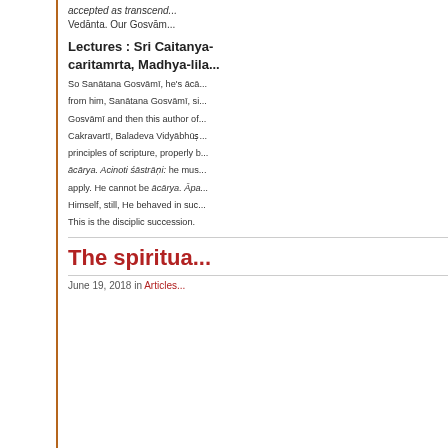accepted as transcend... Vedānta. Our Gosvām...
Lectures : Sri Caitanya-caritamrta, Madhya-lila...
So Sanātana Gosvāmī, he's ācā... from him, Sanātana Gosvāmī, si... Gosvāmī and then this author of... Cakravartī, Baladeva Vidyābhūṣ... principles of scripture, properly b... ācārya. Acinoti śāstrāṇi: he mus... apply. He cannot be ācārya. Āpa... Himself, still, He behaved in suc... This is the disciplic succession.
by
Laksman dasa
The spiritua...
June 19, 2018 in Articles...